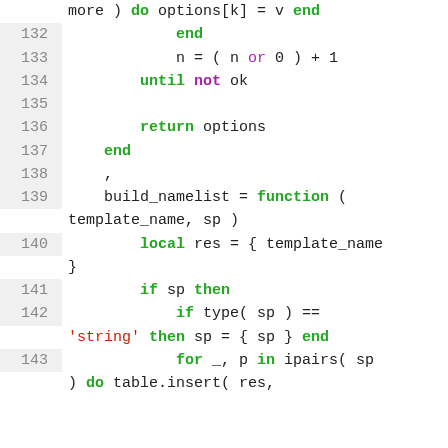Code snippet lines 132-143 (Lua source code)